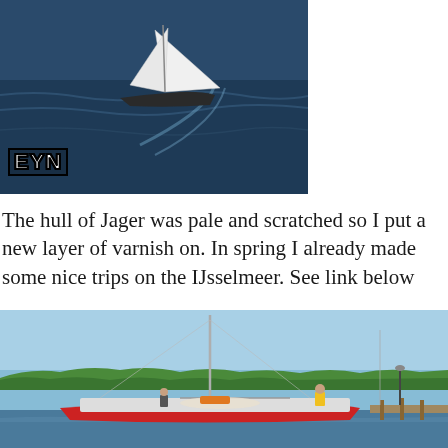[Figure (photo): Aerial or elevated view of a white-sailed sailboat on dark blue water, with a wake trailing behind it. An 'EYN' logo is overlaid in bold white text with black border in the lower left.]
The hull of Jager was pale and scratched so I put a new layer of varnish on. In spring I already made some nice trips on the IJsselmeer. See link below
[Figure (photo): A red-hulled sailboat moored at a dock on a calm lake or harbor. Blue sky, green trees in the background, and people on deck. A wooden pier is visible on the right.]